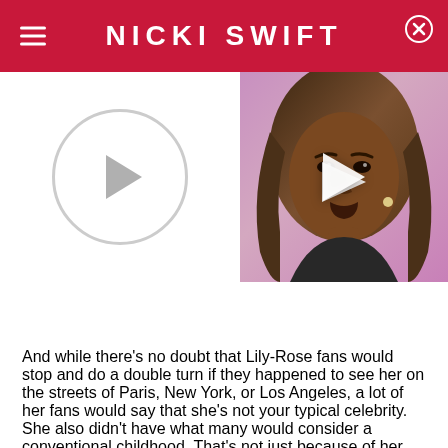NICKI SWIFT
[Figure (other): Video player thumbnail area with play button circle on left and a video thumbnail of a woman on the right with a play button overlay]
And while there's no doubt that Lily-Rose fans would stop and do a double turn if they happened to see her on the streets of Paris, New York, or Los Angeles, a lot of her fans would say that she's not your typical celebrity. She also didn't have what many would consider a conventional childhood. That's not just because of her